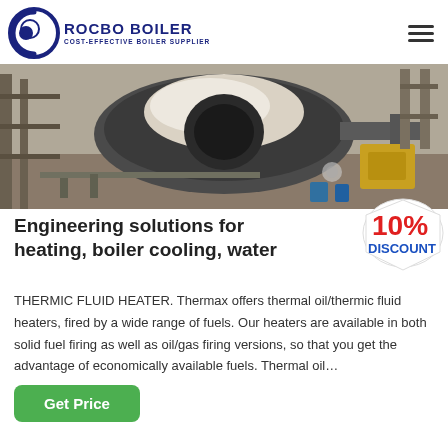ROCBO BOILER — COST-EFFECTIVE BOILER SUPPLIER
[Figure (photo): Industrial boiler wrapped in plastic sheeting on a construction site, with scaffolding and machinery in background.]
Engineering solutions for heating, boiler cooling, water
[Figure (illustration): 10% DISCOUNT badge in red and blue text on a white shield-shaped label.]
THERMIC FLUID HEATER. Thermax offers thermal oil/thermic fluid heaters, fired by a wide range of fuels. Our heaters are available in both solid fuel firing as well as oil/gas firing versions, so that you get the advantage of economically available fuels. Thermal oil…
Get Price